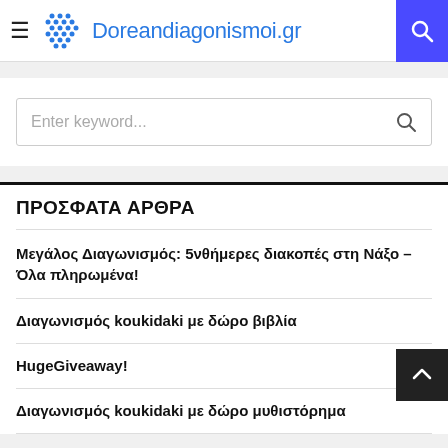Doreandiagonismoi.gr
[Figure (screenshot): Search bar with placeholder text 'Enter keyword...']
ΠΡΟΣΦΑΤΑ ΑΡΘΡΑ
Μεγάλος Διαγωνισμός: 5νθήμερες διακοπές στη Νάξο – Όλα πληρωμένα!
Διαγωνισμός koukidaki με δώρο βιβλία
HugeGiveaway!
Διαγωνισμός koukidaki με δώρο μυθιστόρημα